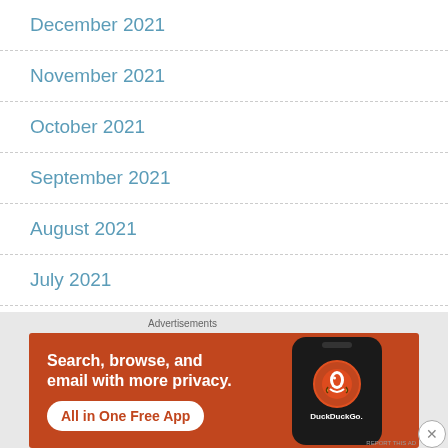December 2021
November 2021
October 2021
September 2021
August 2021
July 2021
June 2021
[Figure (other): DuckDuckGo advertisement banner: orange background with text 'Search, browse, and email with more privacy. All in One Free App' and a phone mockup showing DuckDuckGo logo]